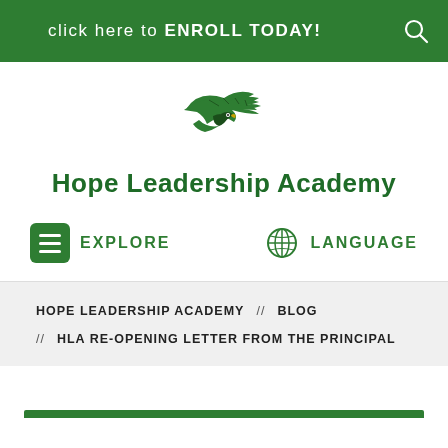click here to ENROLL TODAY!
[Figure (logo): Hope Leadership Academy eagle logo in green and black]
Hope Leadership Academy
EXPLORE
LANGUAGE
HOPE LEADERSHIP ACADEMY // BLOG
// HLA RE-OPENING LETTER FROM THE PRINCIPAL